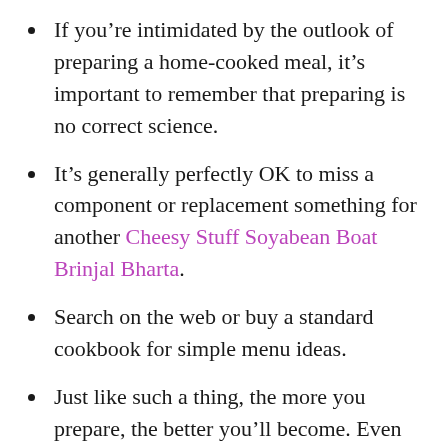If you're intimidated by the outlook of preparing a home-cooked meal, it's important to remember that preparing is no correct science.
It's generally perfectly OK to miss a component or replacement something for another Cheesy Stuff Soyabean Boat Brinjal Bharta.
Search on the web or buy a standard cookbook for simple menu ideas.
Just like such a thing, the more you prepare, the better you'll become. Even though you are a whole amateur in the kitchen, you'll shortly master some quick, healthy meals.
What recipe must I personally use for Cheesy